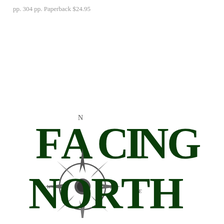pp. 304 pp. Paperback $24.95
[Figure (logo): Facing North logo with compass rose graphic showing N, W, E directions. Text reads 'FACING NORTH' in large dark green serif letters with a grey compass rose integrated into the design.]